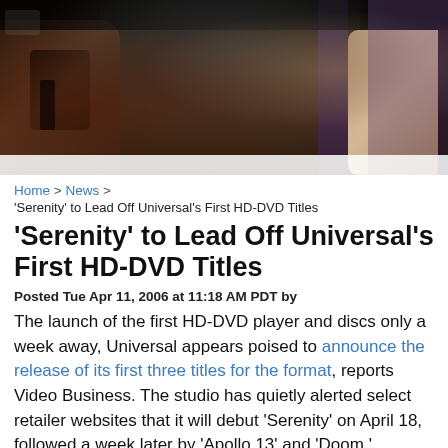[Figure (photo): Dark cinematic photo showing figures, appears to be movie/TV scene with dark tones, visible arm and hand details]
Home > News >
'Serenity' to Lead Off Universal's First HD-DVD Titles
'Serenity' to Lead Off Universal's First HD-DVD Titles
Posted Tue Apr 11, 2006 at 11:18 AM PDT by
The launch of the first HD-DVD player and discs only a week away, Universal appears poised to announce the release of its first three titles for the format, reports Video Business. The studio has quietly alerted select retailer websites that it will debut 'Serenity' on April 18, followed a week later by 'Apollo 13' and 'Doom.'
Though Universal has not made an any official announcement of the titles, nor would a studio spokesperson confirm nor deny the releases to VB, all